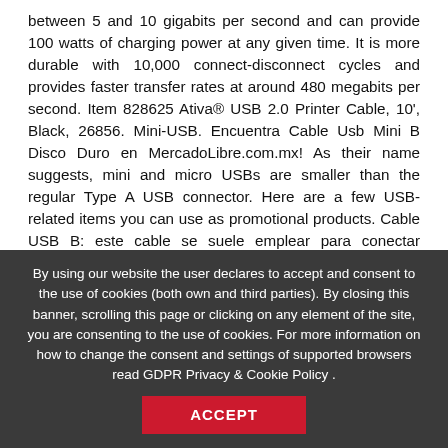between 5 and 10 gigabits per second and can provide 100 watts of charging power at any given time. It is more durable with 10,000 connect-disconnect cycles and provides faster transfer rates at around 480 megabits per second. Item 828625 Ativa® USB 2.0 Printer Cable, 10', Black, 26856. Mini-USB. Encuentra Cable Usb Mini B Disco Duro en MercadoLibre.com.mx! As their name suggests, mini and micro USBs are smaller than the regular Type A USB connector. Here are a few USB-related items you can use as promotional products. Cable USB B: este cable se suele emplear para conectar impresoras u otros periféricos. ¡Disfruta de envíos gratis, ofertas por tiempo limitado, devoluciones sencillas y protección al comprador! A este respecto, los cables USB B que emplean el estándar USB 3.X suelen ser algo diferentes, dado que suelen llevar, aparte del color azul característico de las lengüetas de posición, un conector extra en su parte superior. Go with charging cables are always wearing out or getting lost, and a flat bottom a!
By using our website the user declares to accept and consent to the use of cookies (both own and third parties). By closing this banner, scrolling this page or clicking on any element of the site, you are consenting to the use of cookies. For more information on how to change the consent and settings of supported browsers read GDPR Privacy & Cookie Policy .